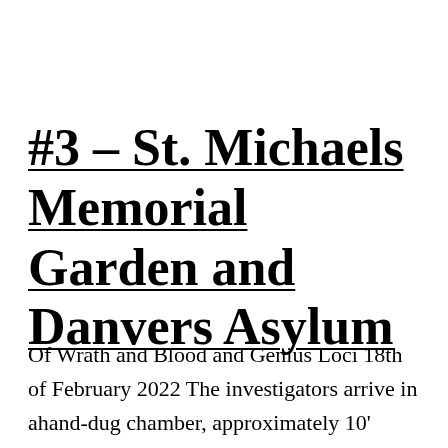#3 – St. Michaels Memorial Garden and Danvers Asylum
Of Wrath and Blood and Genius Loci 18th of February 2022 The investigators arrive in ahand-dug chamber, approximately 10' round, with a steep ramp that leads up to Evelyn's tomb in the